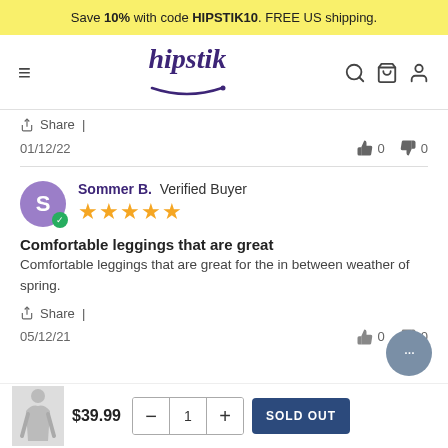Save 10% with code HIPSTIK10. FREE US shipping.
[Figure (logo): Hipstik logo — stylized italic text in dark purple with a smile underline]
Share |
01/12/22   👍 0   👎 0
Sommer B. Verified Buyer ★★★★★
Comfortable leggings that are great
Comfortable leggings that are great for the in between weather of spring.
Share |
05/12/21   👍 0   👎 0
$39.99   − 1 +   SOLD OUT